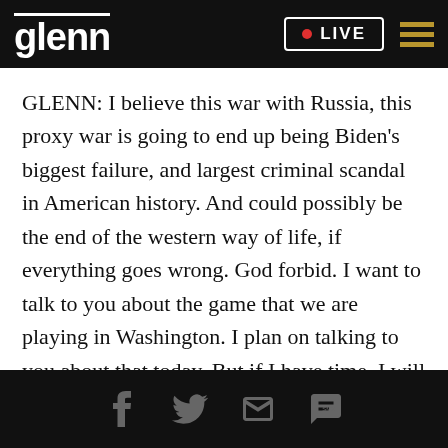glenn | LIVE
GLENN: I believe this war with Russia, this proxy war is going to end up being Biden's biggest failure, and largest criminal scandal in American history. And could possibly be the end of the western way of life, if everything goes wrong. God forbid. I want to talk to you about the game that we are playing in Washington. I plan on talking to you about that today. But if I have time, I will work it in, at this time. Because it is about what's happening with Zelinsky and Biden. And the Ukraine.
Social share icons: Facebook, Twitter, Email, SMS